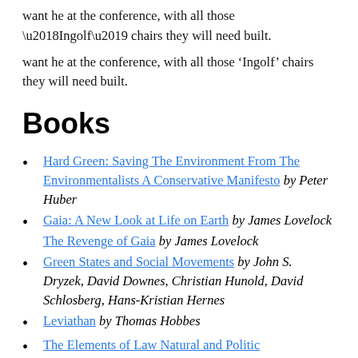want he at the conference, with all those ‘Ingolf’ chairs they will need built.
Books
Hard Green: Saving The Environment From The Environmentalists A Conservative Manifesto by Peter Huber
Gaia: A New Look at Life on Earth by James Lovelock
The Revenge of Gaia by James Lovelock
Green States and Social Movements by John S. Dryzek, David Downes, Christian Hunold, David Schlosberg, Hans-Kristian Hernes
Leviathan by Thomas Hobbes
The Elements of Law Natural and Politic